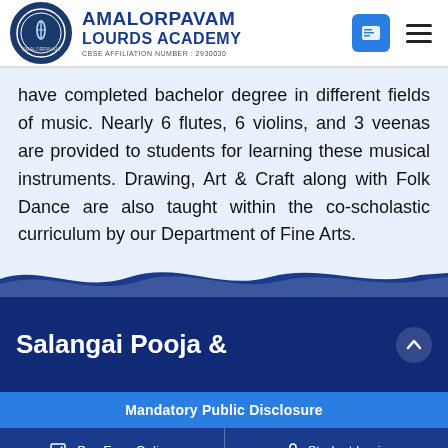AMALORPAVAM LOURDS ACADEMY — CBSE AFFILIATION NUMBER : 2930030
have completed bachelor degree in different fields of music. Nearly 6 flutes, 6 violins, and 3 veenas are provided to students for learning these musical instruments. Drawing, Art & Craft along with Folk Dance are also taught within the co-scholastic curriculum by our Department of Fine Arts.
[Figure (photo): Wave divider graphic separating content area from blue banner section with Salangai Pooja & text]
Salangai Pooja &
Mandatory Public Disclosure
Pay Fees Online   Student Login